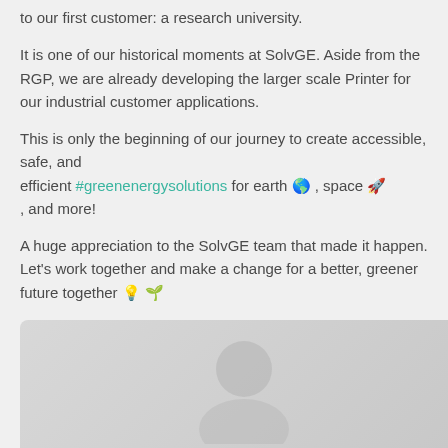to our first customer: a research university.
It is one of our historical moments at SolvGE. Aside from the RGP, we are already developing the larger scale Printer for our industrial customer applications.
This is only the beginning of our journey to create accessible, safe, and efficient #greenenergysolutions for earth 🌎 , space 🚀 , and more!
A huge appreciation to the SolvGE team that made it happen. Let's work together and make a change for a better, greener future together 💡 🌱
#climatechange #greenenergy #innovation #milestoneachieved #hydrogenperoxide
[Figure (photo): Partial photo visible at bottom of page, appears to show people or a scene, mostly cropped out]